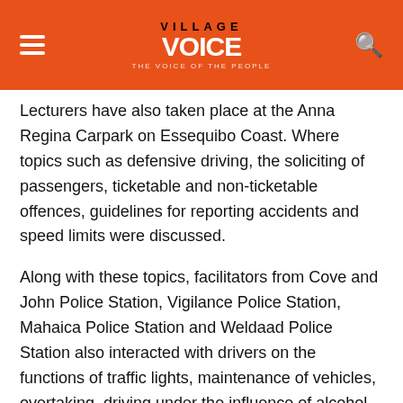Village Voice
Lecturers have also taken place at the Anna Regina Carpark on Essequibo Coast. Where topics such as defensive driving, the soliciting of passengers, ticketable and non-ticketable offences, guidelines for reporting accidents and speed limits were discussed.
Along with these topics, facilitators from Cove and John Police Station, Vigilance Police Station, Mahaica Police Station and Weldaad Police Station also interacted with drivers on the functions of traffic lights, maintenance of vehicles, overtaking, driving under the influence of alcohol, the importance of wearing a seat belt, mud on the roadways, the use of tractor without lights by night and more.
With motorcycle drivers and pedal cyclists ranking high